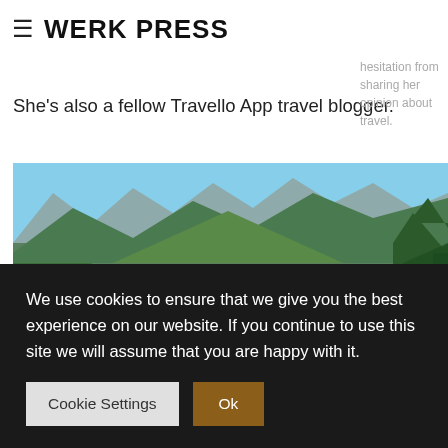WERK PRESS
travel Blogger. Liz also has no filter and no hesitation from sharing her opinion about travel.
She's also a fellow Travello App travel blogger.
[Figure (photo): Aerial view of a river winding through green mountains and valleys under a blue sky]
We use cookies to ensure that we give you the best experience on our website. If you continue to use this site we will assume that you are happy with it.